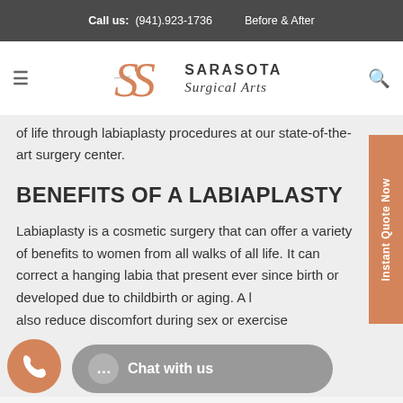Call us: (941).923-1736   Before & After
[Figure (logo): Sarasota Surgical Arts logo with stylized SS monogram in salmon/orange color and text SARASOTA Surgical Arts]
of life through labiaplasty procedures at our state-of-the-art surgery center.
BENEFITS OF A LABIAPLASTY
Labiaplasty is a cosmetic surgery that can offer a variety of benefits to women from all walks of all life. It can correct a hanging labia that present ever since birth or developed due to childbirth or aging. A labiaplasty can also reduce discomfort during sex or exercise